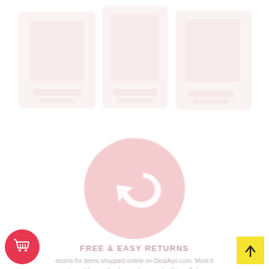[Figure (illustration): Faded/ghost product images in the top half of the page, very light pink/white, barely visible.]
[Figure (illustration): Pink circle with a white undo/reply arrow icon in the center, representing free and easy returns.]
FREE & EASY RETURNS
returns for items shopped online on DealAyo.com. Most items be returned for a refund or replacement within a 7-day re window. Please check our return policies.
[Figure (illustration): Red circular button with a white shopping basket/cart icon, positioned bottom left.]
[Figure (illustration): Yellow square button with a black upward arrow, positioned bottom right as a scroll-to-top button.]